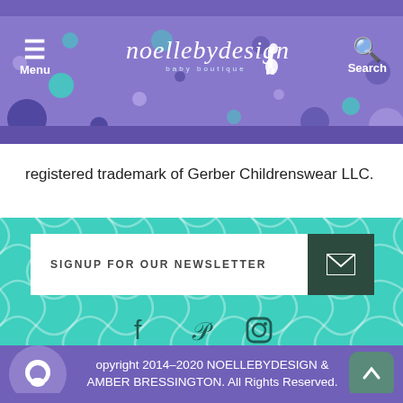[Figure (screenshot): Website header with purple background, hamburger Menu button on left, noellebydesign baby boutique logo in center with giraffe icon, and Search button on right. Decorative colored dots scattered on background.]
registered trademark of Gerber Childrenswear LLC.
[Figure (screenshot): Teal background section with moroccan/quatrefoil tile pattern. Contains a white newsletter signup bar with text 'SIGNUP FOR OUR NEWSLETTER' and dark green mail button. Social media icons for Facebook, Pinterest, and Instagram below. White Links dropdown bar at bottom.]
opyright 2014-2020 NOELLEBYDESIGN & AMBER BRESSINGTON. All Rights Reserved.